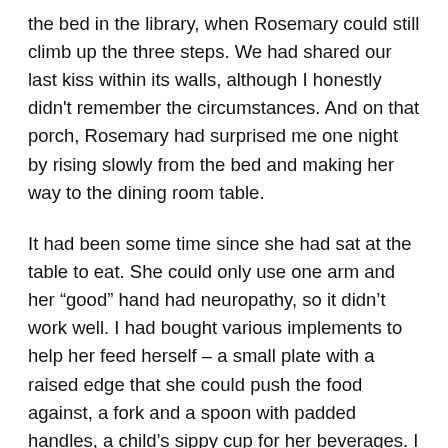the bed in the library, when Rosemary could still climb up the three steps. We had shared our last kiss within its walls, although I honestly didn't remember the circumstances. And on that porch, Rosemary had surprised me one night by rising slowly from the bed and making her way to the dining room table.
It had been some time since she had sat at the table to eat. She could only use one arm and her “good” hand had neuropathy, so it didn’t work well. I had bought various implements to help her feed herself – a small plate with a raised edge that she could push the food against, a fork and a spoon with padded handles, a child’s sippy cup for her beverages. I generally cooked something for myself and put a few bites on her plate, for she was eating little. It had been some time, however, since she